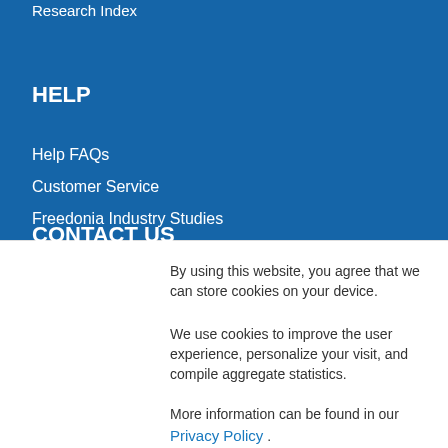Research Index
HELP
Help FAQs
Customer Service
Freedonia Industry Studies
CONTACT US
By using this website, you agree that we can store cookies on your device.
We use cookies to improve the user experience, personalize your visit, and compile aggregate statistics.
More information can be found in our Privacy Policy .